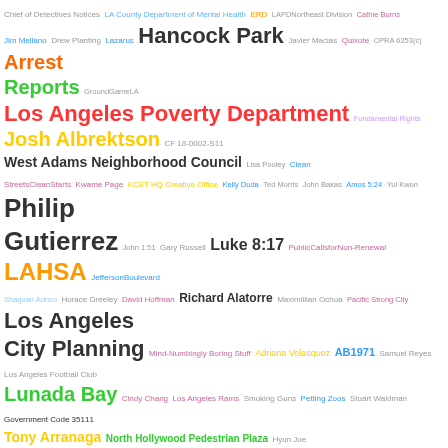[Figure (infographic): Word cloud containing terms related to Los Angeles government, public figures, city departments, and civic topics. Words are displayed in varying sizes and colors (green, orange, yellow, purple, blue, red, gray, teal) indicating frequency or importance. Larger words include: Los Angeles City Planning, Selma Avenue, Demand Letters, Officer Benjamin Thompson, Philip Gutierrez, LAHSA, Lunada Bay, CD12 Rusty Mullet, Jessica Borek, Nikki Ezhari, San Pedro, Arrest Reports, Los Angeles Poverty Department, Josh Albrektson, Tony Arranaga, Ron Galperin, Rick Howard, Rick Caruso, Lulu Woldemariam, Planning and Land Use Management Committee.]